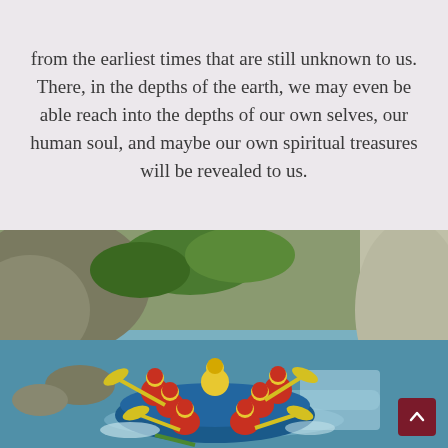from the earliest times that are still unknown to us. There, in the depths of the earth, we may even be able reach into the depths of our own selves, our human soul, and maybe our own spiritual treasures will be revealed to us.
[Figure (photo): Group of people white water rafting in a river canyon, wearing yellow jackets, red helmets, and red life vests, paddling with yellow oars in a blue inflatable raft through rapids surrounded by large rocks and green trees.]